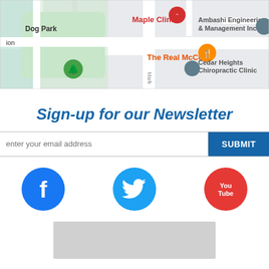[Figure (map): Google Maps screenshot showing Maple Clinic (red pin), The Real McCoy (orange pin), Ambashi Engineering & Management Inc (gray pin), Cedar Heights Chiropractic Clinic (gray pin), Dog Park area with green tree icon, street labels including Market Rd]
Sign-up for our Newsletter
[Figure (other): Email newsletter sign-up form with text input 'enter your email address' and blue SUBMIT button]
[Figure (other): Social media icons: Facebook (blue circle with f), Twitter (light blue circle with bird), YouTube (red circle with You Tube text)]
[Figure (other): Gray rectangle placeholder at bottom]